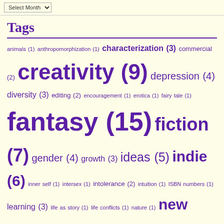Select Month
Tags
animals (1) anthropomorphization (1) characterization (3) commercial (2) creativity (9) depression (4) diversity (3) editing (2) encouragement (1) erotica (1) fairy tale (1) fantasy (15) fiction (7) gender (4) growth (3) ideas (5) indie (6) inner self (1) intersex (1) intolerance (2) intuition (1) ISBN numbers (1) learning (3) life as story (1) life conflicts (1) nature (1) new release (6) novel-writing (22) prejudice (1) priorities (4) publishing (6) responsibility (1) revision (1) self-promotion (3) self-publishing (6)